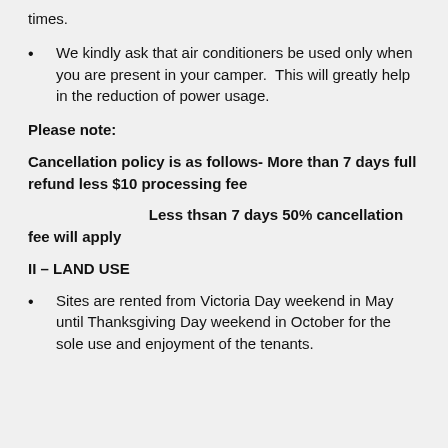times.
We kindly ask that air conditioners be used only when you are present in your camper.  This will greatly help in the reduction of power usage.
Please note:
Cancellation policy is as follows- More than 7 days full refund less $10 processing fee
Less thsan 7 days 50% cancellation fee will apply
II – LAND USE
Sites are rented from Victoria Day weekend in May until Thanksgiving Day weekend in October for the sole use and enjoyment of the tenants.